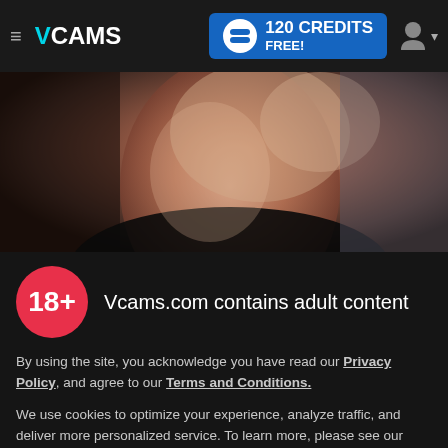≡ VCAMS | 120 CREDITS FREE!
[Figure (photo): Young woman with light hair smiling, dark background, hero banner image]
18+ Vcams.com contains adult content
By using the site, you acknowledge you have read our Privacy Policy, and agree to our Terms and Conditions.
We use cookies to optimize your experience, analyze traffic, and deliver more personalized service. To learn more, please see our Privacy Policy.
I AGREE